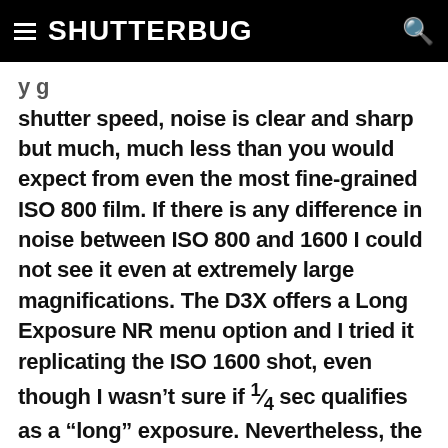SHUTTERBUG
shutter speed, noise is clear and sharp but much, much less than you would expect from even the most fine-grained ISO 800 film. If there is any difference in noise between ISO 800 and 1600 I could not see it even at extremely large magnifications. The D3X offers a Long Exposure NR menu option and I tried it replicating the ISO 1600 shot, even though I wasn't sure if ¹⁄₄ sec qualifies as a “long” exposure. Nevertheless, the results were startling. The image was crisp and clear and the noise levels were close to the ISO 100 setting and much less apparent than what was created at ISO 400.